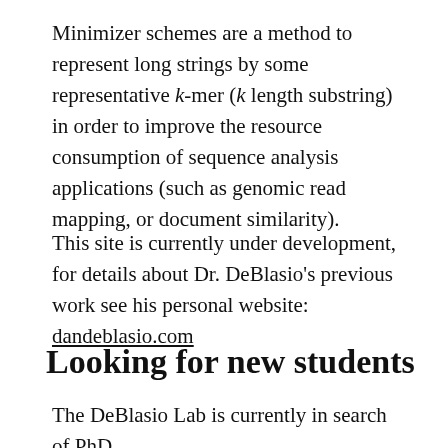Minimizer schemes are a method to represent long strings by some representative k-mer (k length substring) in order to improve the resource consumption of sequence analysis applications (such as genomic read mapping, or document similarity).
This site is currently under development, for details about Dr. DeBlasio's previous work see his personal website: dandeblasio.com
Looking for new students
The DeBlasio Lab is currently in search of PhD